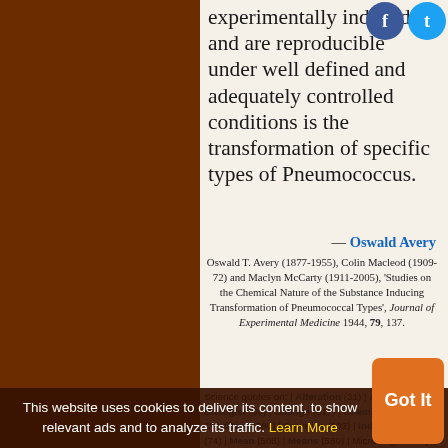experimentally induced and are reproducible under well defined and adequately controlled conditions is the transformation of specific types of Pneumococcus.
— Oswald Avery
Oswald T. Avery (1877-1955), Colin Macleod (1909-72) and Maclyn McCarty (1911-2005), 'Studies on the Chemical Nature of the Substance Inducing Transformation of Pneumococcal Types', Journal of Experimental Medicine 1944, 79, 137.
Science quotes on: | Alteration (31) | Attempt (256) | Biologist (69) | Change (617) | Chemical (296) | Condition (360) | Genetics (102) | Induce (23) | Long (74) | Mean (508) | Means (580) | Micro-Organism (3) | Microorganism (29) | Most (1729) | Organism (225) |
This website uses cookies to deliver its content, to show relevant ads and to analyze its traffic. Learn More